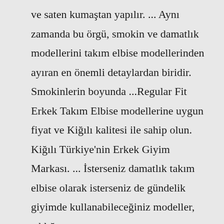ve saten kumaştan yapılır. ... Aynı zamanda bu örgü, smokin ve damatlık modellerini takım elbise modellerinden ayıran en önemli detaylardan biridir. Smokinlerin boyunda ...Regular Fit Erkek Takım Elbise modellerine uygun fiyat ve Kiğılı kalitesi ile sahip olun. Kiğılı Türkiye'nin Erkek Giyim Markası. ... İsterseniz damatlık takım elbise olarak isterseniz de gündelik giyimde kullanabileceğiniz modeller, şıklığınıza